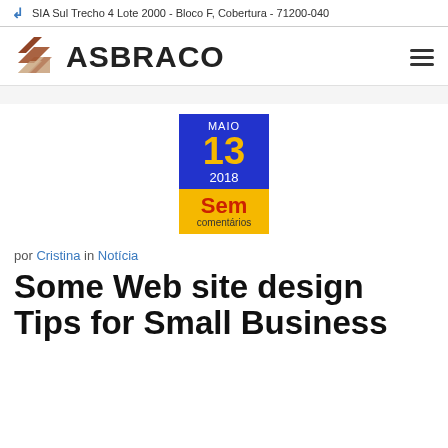SIA Sul Trecho 4 Lote 2000 - Bloco F, Cobertura - 71200-040
[Figure (logo): ASBRACO logo with geometric icon on the left and bold ASBRACO text]
[Figure (infographic): Date badge showing MAIO / 13 / 2018 in blue section and Sem comentários in yellow section]
por Cristina in Notícia
Some Web site design Tips for Small Business